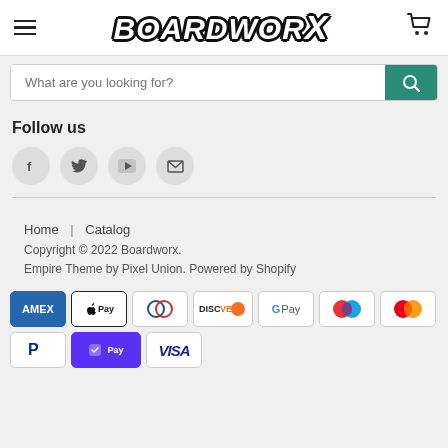BOARDWORX
What are you looking for?
Follow us
[Figure (infographic): Social media icons: Facebook, Twitter, YouTube, Email]
Home | Catalog
Copyright © 2022 Boardworx.
Empire Theme by Pixel Union. Powered by Shopify
[Figure (infographic): Payment method icons: AMEX, Apple Pay, Diners, Discover, Google Pay, Maestro, Mastercard, PayPal, Shop Pay, VISA]